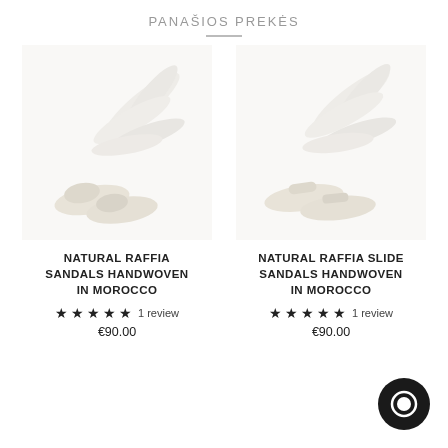PANAŠIOS PREKĖS
[Figure (photo): Product photo of Natural Raffia Sandals Handwoven in Morocco — cream/white mule slippers with palm leaf decoration on white background]
NATURAL RAFFIA SANDALS HANDWOVEN IN MOROCCO
★★★★★ 1 review
€90.00
[Figure (photo): Product photo of Natural Raffia Slide Sandals Handwoven in Morocco — cream/white slide sandals with palm leaf decoration on white background]
NATURAL RAFFIA SLIDE SANDALS HANDWOVEN IN MOROCCO
★★★★★ 1 review
€90.00